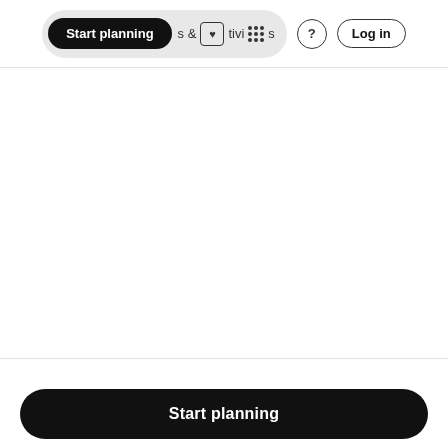Start planning  &  Activities  (?)  Log in
[Figure (screenshot): White blank content area (map or image not loaded)]
Bangweulu Wetlands is located in Mpika. To visit Bangweul...
Start planning